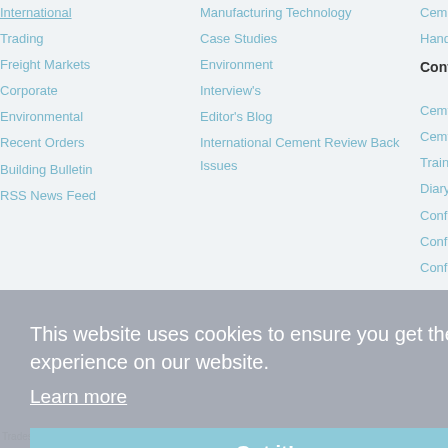International
Trading
Freight Markets
Corporate
Environmental
Recent Orders
Building Bulletin
RSS News Feed
Manufacturing Technology
Case Studies
Environment
Interview's
Editor's Blog
International Cement Review Back Issues
Cement Pla... Handbook 5
Conferenc...
Cemtech Li... Decarbonis... Manufactur... 2022
Cemtech E... Spain, 02-0...
Training: Pr... decarbonis... Barcelona,...
Diary Dates
Conference
Conference
Conference
This website uses cookies to ensure you get the best experience on our website. Learn more
Got it!
Tradeship Publications Ltd © 1988-2022 | No part of this website may be reproduced without prior wr...